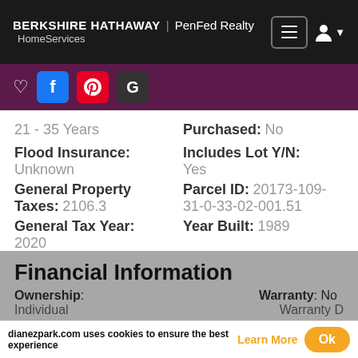BERKSHIRE HATHAWAY | PenFed Realty HomeServices
[Figure (screenshot): Social sharing bar with heart, Facebook, Pinterest, and Google icons on purple background]
21 - 35 Years
Purchased: No
Flood Insurance: Unknown
Includes Lot Y/N: Yes
General Property Taxes: 2106.3
Parcel ID: 20173-109-31-0-33-02-001.51
General Tax Year: 2020
Year Built: 1989
Financial Information
Ownership:
Warranty: No
dianezpark.com uses cookies to ensure the best experience